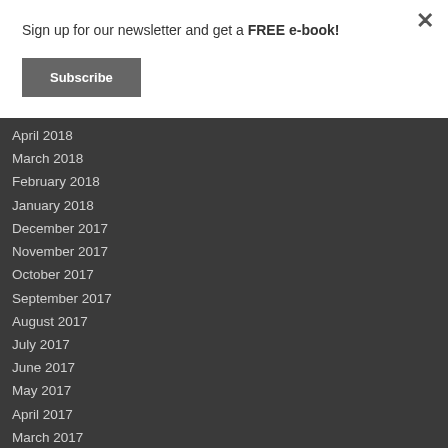Sign up for our newsletter and get a FREE e-book!
Subscribe
April 2018
March 2018
February 2018
January 2018
December 2017
November 2017
October 2017
September 2017
August 2017
July 2017
June 2017
May 2017
April 2017
March 2017
January 2017